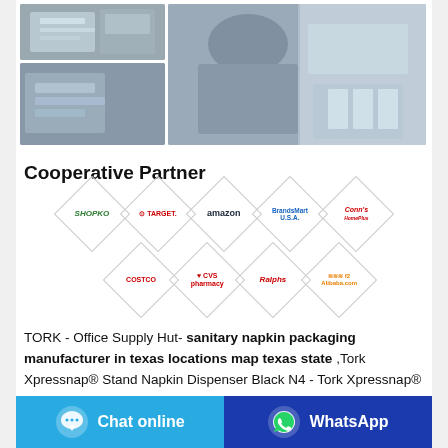[Figure (photo): Two manufacturing/packaging machine photos on the left (stacked), one large photo of packaging machinery on the right]
Cooperative Partner
[Figure (infographic): Diamond-shaped logos grid showing cooperative partners: Shopko, Target, Amazon, BrandsMart USA, Conn's HomePlus, Costco, CVS Pharmacy, Ralphs, Alibaba.com]
TORK - Office Supply Hut- sanitary napkin packaging manufacturer in texas locations map texas state ,Tork Xpressnap® Stand Napkin Dispenser Black N4 - Tork Xpressnap® Stand Napkin Dispenser Black N4, Upright Design, Signature Range, 24.5" x 9.25" x 9.25" , 6332000